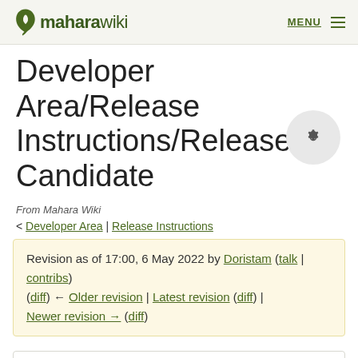maharawiki  MENU
Developer Area/Release Instructions/Release Candidate
From Mahara Wiki
< Developer Area | Release Instructions
Revision as of 17:00, 6 May 2022 by Doristam (talk | contribs)
(diff) ← Older revision | Latest revision (diff) | Newer revision → (diff)